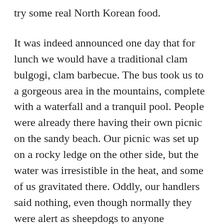try some real North Korean food.
It was indeed announced one day that for lunch we would have a traditional clam bulgogi, clam barbecue. The bus took us to a gorgeous area in the mountains, complete with a waterfall and a tranquil pool. People were already there having their own picnic on the sandy beach. Our picnic was set up on a rocky ledge on the other side, but the water was irresistible in the heat, and some of us gravitated there. Oddly, our handlers said nothing, even though normally they were alert as sheepdogs to anyone wandering off and earlier in the day an unauthorized photo incident caused upset all around.
To get to the beach, you walked a path where a young boy sat painting a picture of the waterfall — it was almost too picturesque. The locals had spread out a feast of kimchi, bulgogi, mounds of fat purple grapes, cold bottles of beer. Soon some of the picnickers were cheerily exhorting us